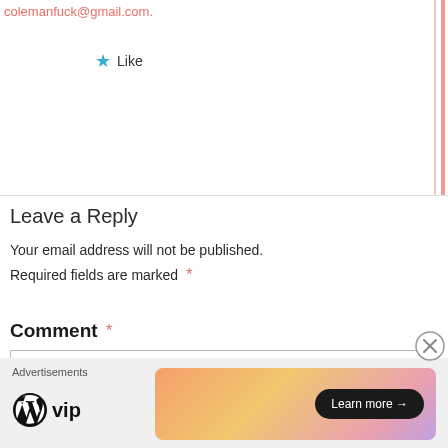colemanfuck@gmail.com.
★ Like
Leave a Reply
Your email address will not be published. Required fields are marked *
Comment *
[Figure (screenshot): Empty comment textarea input box]
Advertisements
[Figure (logo): WordPress VIP logo with WP icon and 'vip' text]
[Figure (other): Advertisement card with gradient background and 'Learn more →' button]